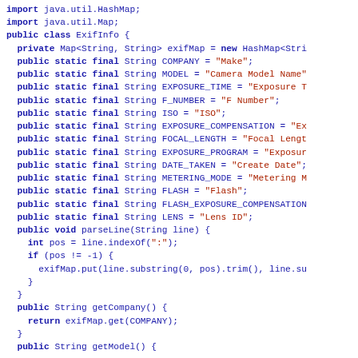Java source code snippet showing ExifInfo class definition with import statements, static final String fields for EXIF metadata keys, parseLine method, and getCompany/getModel method beginnings.